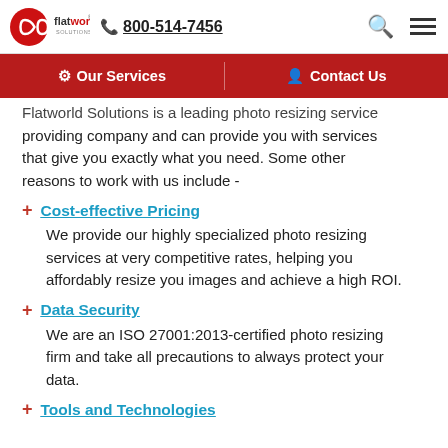flatworld solutions | 800-514-7456
Our Services | Contact Us
Flatworld Solutions is a leading photo resizing service providing company and can provide you with services that give you exactly what you need. Some other reasons to work with us include -
Cost-effective Pricing
We provide our highly specialized photo resizing services at very competitive rates, helping you affordably resize you images and achieve a high ROI.
Data Security
We are an ISO 27001:2013-certified photo resizing firm and take all precautions to always protect your data.
Tools and Technologies